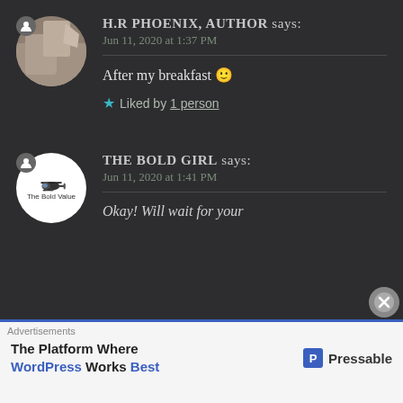H.R PHOENIX, AUTHOR says:
Jun 11, 2020 at 1:37 PM
After my breakfast 🙂
★ Liked by 1 person
THE BOLD GIRL says:
Jun 11, 2020 at 1:41 PM
Okay! Will wait for your
Advertisements
The Platform Where WordPress Works Best
[Figure (logo): Pressable logo with blue P icon]